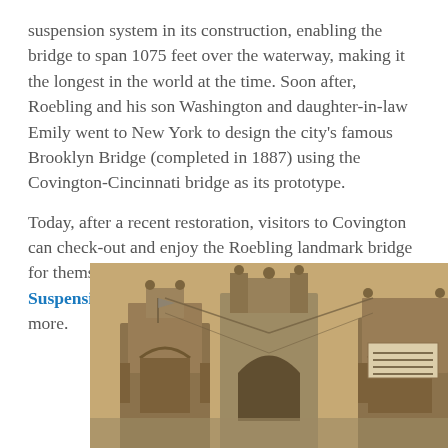suspension system in its construction, enabling the bridge to span 1075 feet over the waterway, making it the longest in the world at the time. Soon after, Roebling and his son Washington and daughter-in-law Emily went to New York to design the city's famous Brooklyn Bridge (completed in 1887) using the Covington-Cincinnati bridge as its prototype.
Today, after a recent restoration, visitors to Covington can check-out and enjoy the Roebling landmark bridge for themselves. Visit the Covington-Cincinnati Suspension Bridge Committee's website to learn more.
[Figure (photo): Sepia-toned historical photograph of the towers of the Covington-Cincinnati Suspension Bridge (Roebling Bridge), showing two large stone gothic arch towers with a sign visible on the right side.]